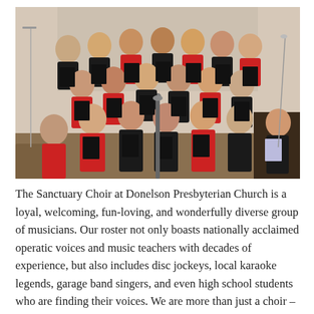[Figure (photo): Group photo of the Sanctuary Choir at Donelson Presbyterian Church. Large ensemble of men and women dressed in black attire with red accents, holding black choir folders, arranged in tiered rows in a church setting.]
The Sanctuary Choir at Donelson Presbyterian Church is a loyal, welcoming, fun-loving, and wonderfully diverse group of musicians. Our roster not only boasts nationally acclaimed operatic voices and music teachers with decades of experience, but also includes disc jockeys, local karaoke legends, garage band singers, and even high school students who are finding their voices. We are more than just a choir – we are a group of friends who love and support each other through the ups and downs of life, and who